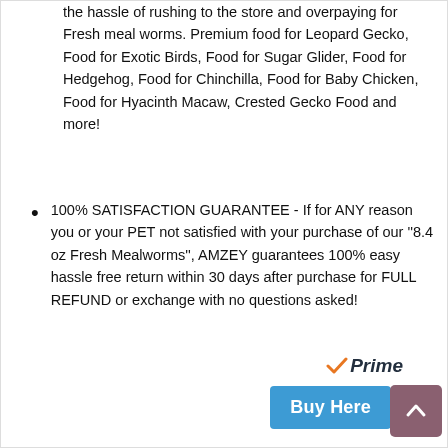the hassle of rushing to the store and overpaying for Fresh meal worms. Premium food for Leopard Gecko, Food for Exotic Birds, Food for Sugar Glider, Food for Hedgehog, Food for Chinchilla, Food for Baby Chicken, Food for Hyacinth Macaw, Crested Gecko Food and more!
100% SATISFACTION GUARANTEE - If for ANY reason you or your PET not satisfied with your purchase of our ''8.4 oz Fresh Mealworms'', AMZEY guarantees 100% easy hassle free return within 30 days after purchase for FULL REFUND or exchange with no questions asked!
[Figure (logo): Amazon Prime logo with orange checkmark and italic 'Prime' text]
Buy Here